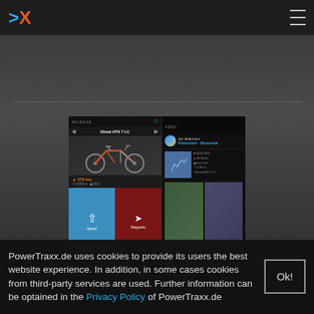[Figure (screenshot): PowerTraxx.de website header with logo (X symbol in blue and orange) on dark background, hamburger menu icon on right]
[Figure (screenshot): App screenshot showing two panels: left panel 'MILEAGE' with Ghost HTX 7 LC bike image, 373 km distance, upload and waypoints buttons; right panel 'FEED' showing Jan Jedermann's route Pottenstein-Wiesenttal with map thumbnail and photos]
PowerTraxx.de uses cookies to provide its users the best website experience. In addition, in some cases cookies from third-party services are used. Further information can be optained in the Privacy Policy of PowerTraxx.de